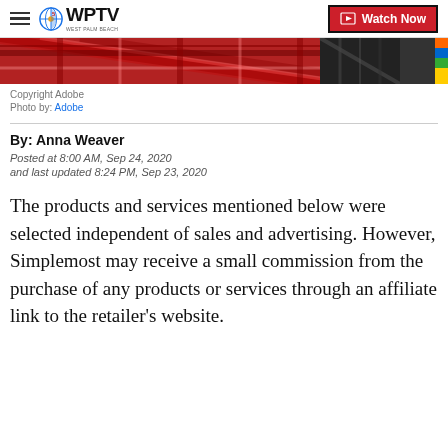WPTV West Palm Beach — Watch Now
[Figure (photo): Cropped image showing plaid fabric in red and dark patterns with a person and colorful items on the right edge]
Copyright Adobe
Photo by: Adobe
By: Anna Weaver
Posted at 8:00 AM, Sep 24, 2020
and last updated 8:24 PM, Sep 23, 2020
The products and services mentioned below were selected independent of sales and advertising. However, Simplemost may receive a small commission from the purchase of any products or services through an affiliate link to the retailer's website.